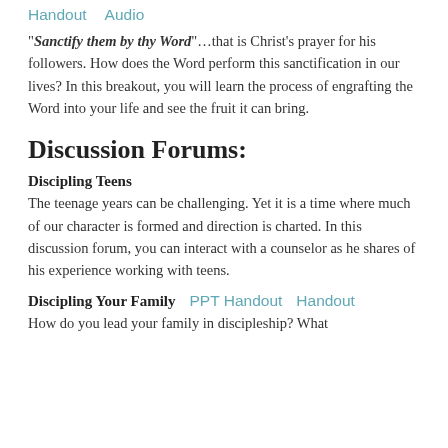Handout   Audio
"Sanctify them by thy Word"…that is Christ's prayer for his followers. How does the Word perform this sanctification in our lives? In this breakout, you will learn the process of engrafting the Word into your life and see the fruit it can bring.
Discussion Forums:
Discipling Teens
The teenage years can be challenging. Yet it is a time where much of our character is formed and direction is charted. In this discussion forum, you can interact with a counselor as he shares of his experience working with teens.
Discipling Your Family   PPT Handout   Handout
How do you lead your family in discipleship? What